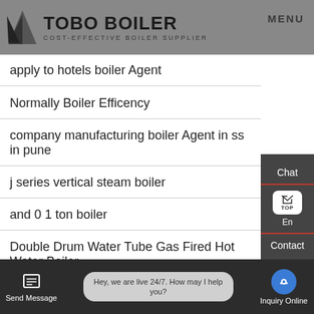TOBO BOILER COST-EFFECTIVE BOILER SUPPLIER MENU
apply to hotels boiler Agent
Normally Boiler Efficency
company manufacturing boiler Agent in ss in pune
j series vertical steam boiler
and 0 1 ton boiler
Double Drum Water Tube Gas Fired Hot Water Boiler
100 Hp 100 Bhp boiler
Send Message  Hey, we are live 24/7. How may I help you?  Inquiry Online